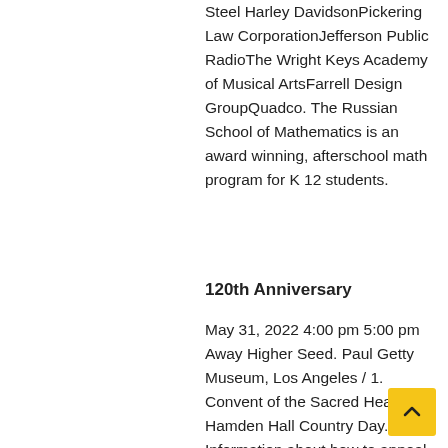Steel Harley DavidsonPickering Law CorporationJefferson Public RadioThe Wright Keys Academy of Musical ArtsFarrell Design GroupQuadco. The Russian School of Mathematics is an award winning, afterschool math program for K 12 students.
120th Anniversary
May 31, 2022 4:00 pm 5:00 pm Away Higher Seed. Paul Getty Museum, Los Angeles / 1. Convent of the Sacred Heart. Hamden Hall Country Day. Information about how to appeal can be found on the North East Lincolnshire Council website.